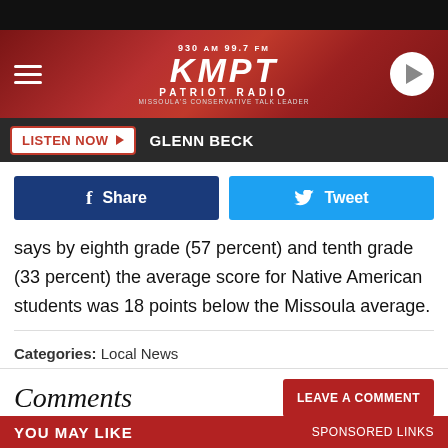930 AM 99.7 FM KMPT PATRIOT RADIO | LISTEN NOW ▶ GLENN BECK
[Figure (logo): KMPT Patriot Radio logo — 930 AM 99.7 FM, red gradient header with hamburger menu and play button]
says by eighth grade (57 percent) and tenth grade (33 percent) the average score for Native American students was 18 points below the Missoula average.
Categories: Local News
Comments
YOU MAY LIKE   SPONSORED LINKS